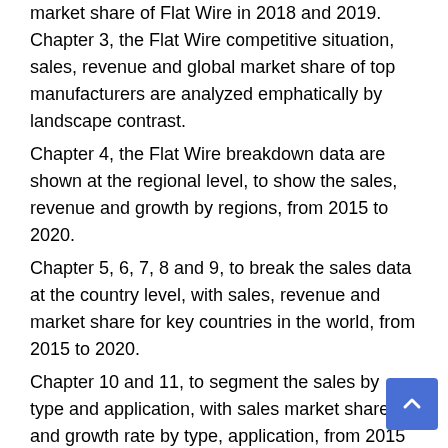market share of Flat Wire in 2018 and 2019. Chapter 3, the Flat Wire competitive situation, sales, revenue and global market share of top manufacturers are analyzed emphatically by landscape contrast.
Chapter 4, the Flat Wire breakdown data are shown at the regional level, to show the sales, revenue and growth by regions, from 2015 to 2020.
Chapter 5, 6, 7, 8 and 9, to break the sales data at the country level, with sales, revenue and market share for key countries in the world, from 2015 to 2020.
Chapter 10 and 11, to segment the sales by type and application, with sales market share and growth rate by type, application, from 2015 to 2020.